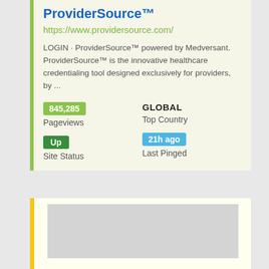ProviderSource™
https://www.providersource.com/
LOGIN · ProviderSource™ powered by Medversant. ProviderSource™ is the innovative healthcare credentialing tool designed exclusively for providers, by ...
845,285 Pageviews
GLOBAL Top Country
Up Site Status
21h ago Last Pinged
[Figure (screenshot): Second card with yellow left border and gray placeholder content area]